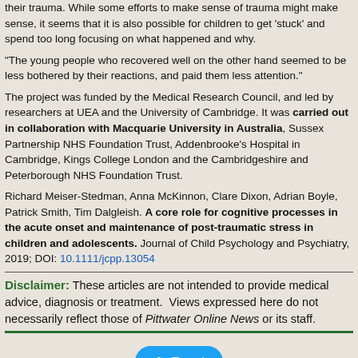their trauma. While some efforts to make sense of trauma might make sense, it seems that it is also possible for children to get 'stuck' and spend too long focusing on what happened and why.
"The young people who recovered well on the other hand seemed to be less bothered by their reactions, and paid them less attention."
The project was funded by the Medical Research Council, and led by researchers at UEA and the University of Cambridge. It was carried out in collaboration with Macquarie University in Australia, Sussex Partnership NHS Foundation Trust, Addenbrooke's Hospital in Cambridge, Kings College London and the Cambridgeshire and Peterborough NHS Foundation Trust.
Richard Meiser-Stedman, Anna McKinnon, Clare Dixon, Adrian Boyle, Patrick Smith, Tim Dalgleish. A core role for cognitive processes in the acute onset and maintenance of post-traumatic stress in children and adolescents. Journal of Child Psychology and Psychiatry, 2019; DOI: 10.1111/jcpp.13054
Disclaimer: These articles are not intended to provide medical advice, diagnosis or treatment. Views expressed here do not necessarily reflect those of Pittwater Online News or its staff.
[Figure (other): Tweet button]